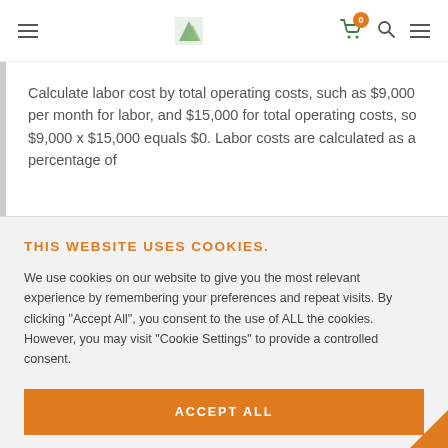Navigation bar with hamburger menu, logo, shopping cart (0 items), search icon, menu icon
Calculate labor cost by total operating costs, such as $9,000 per month for labor, and $15,000 for total operating costs, so $9,000 x $15,000 equals $0. Labor costs are calculated as a percentage of
THIS WEBSITE USES COOKIES.
We use cookies on our website to give you the most relevant experience by remembering your preferences and repeat visits. By clicking "Accept All", you consent to the use of ALL the cookies. However, you may visit "Cookie Settings" to provide a controlled consent.
ACCEPT ALL